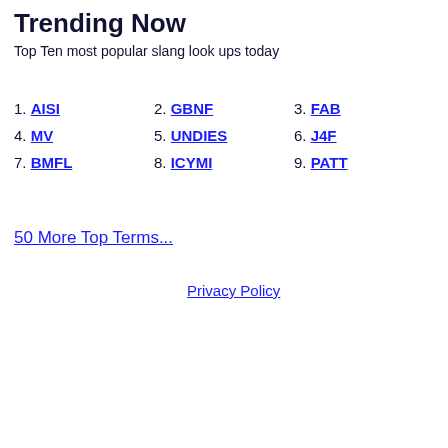Trending Now
Top Ten most popular slang look ups today
1. AISI
2. GBNF
3. FAB
4. MV
5. UNDIES
6. J4F
7. BMFL
8. ICYMI
9. PATT
50 More Top Terms...
Privacy Policy